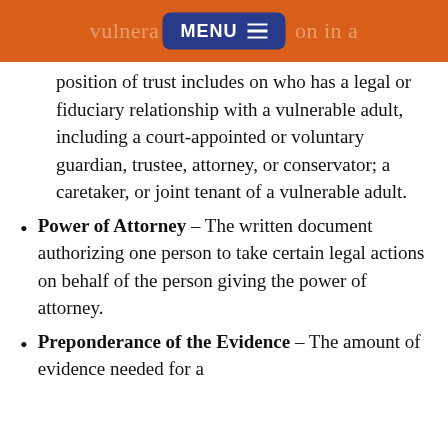vulnerable person in a
position of trust includes on who has a legal or fiduciary relationship with a vulnerable adult, including a court-appointed or voluntary guardian, trustee, attorney, or conservator; a caretaker, or joint tenant of a vulnerable adult.
Power of Attorney – The written document authorizing one person to take certain legal actions on behalf of the person giving the power of attorney.
Preponderance of the Evidence – The amount of evidence needed for a